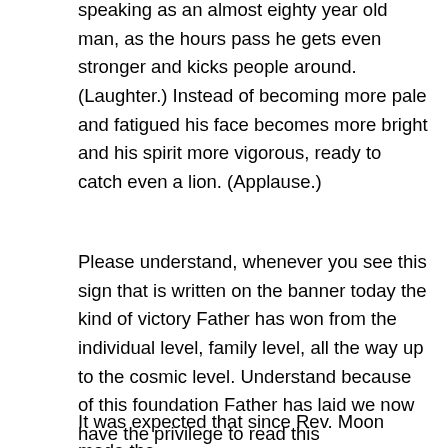speaking as an almost eighty year old man, as the hours pass he gets even stronger and kicks people around. (Laughter.) Instead of becoming more pale and fatigued his face becomes more bright and his spirit more vigorous, ready to catch even a lion. (Applause.)
Please understand, whenever you see this sign that is written on the banner today the kind of victory Father has won from the individual level, family level, all the way up to the cosmic level. Understand because of this foundation Father has laid we now have the privilege to read this proclamation today and live in this special time period.
It was expected that since Rev. Moon made the